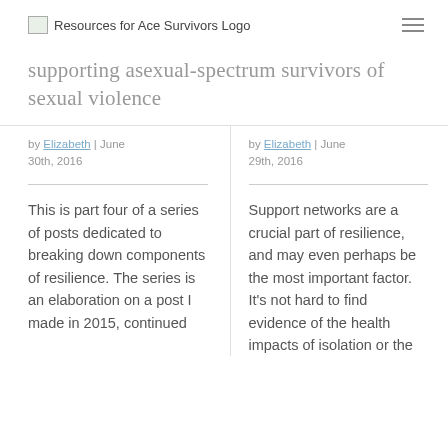Resources for Ace Survivors Logo
supporting asexual-spectrum survivors of sexual violence
by Elizabeth | June 30th, 2016
This is part four of a series of posts dedicated to breaking down components of resilience. The series is an elaboration on a post I made in 2015, continued
by Elizabeth | June 29th, 2016
Support networks are a crucial part of resilience, and may even perhaps be the most important factor. It's not hard to find evidence of the health impacts of isolation or the